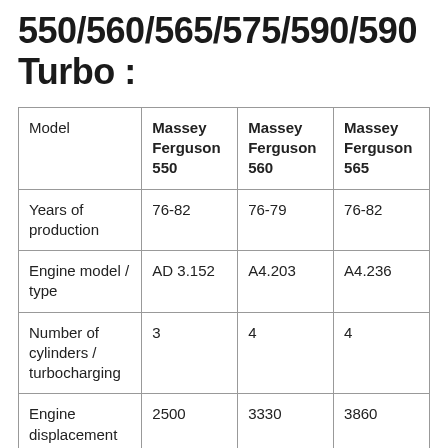550/560/565/575/590/590 Turbo :
| Model | Massey Ferguson 550 | Massey Ferguson 560 | Massey Ferguson 565 |
| --- | --- | --- | --- |
| Years of production | 76-82 | 76-79 | 76-82 |
| Engine model / type | AD 3.152 | A4.203 | A4.236 |
| Number of cylinders / turbocharging | 3 | 4 | 4 |
| Engine displacement (cc?) | 2500 | 3330 | 3860 |